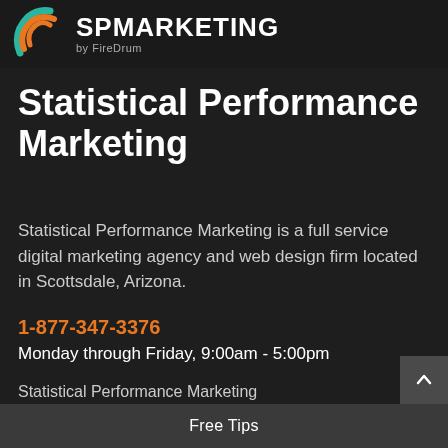[Figure (logo): SP Marketing by FireDrum logo with orange and teal swirl icon and white bold text 'SPMARKETING by FireDrum']
Statistical Performance Marketing
Statistical Performance Marketing is a full service digital marketing agency and web design firm located in Scottsdale, Arizona.
1-877-347-3376
Monday through Friday, 9:00am - 5:00pm
Statistical Performance Marketing
www.spmarketingexperts.com
9903 E. Bell Rd., Suite #120-B
Scottsdale AZ 85260
Free Tips